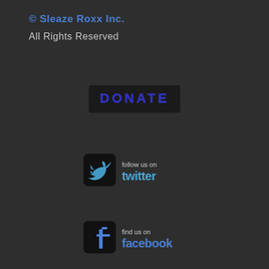© Sleaze Roxx Inc.
All Rights Reserved
[Figure (illustration): DONATE button with dark background and blue dotted/glowing text reading DONATE]
[Figure (logo): Follow us on Twitter button with Twitter bird logo and blue text]
[Figure (logo): Find us on Facebook button with Facebook f logo and blue text]